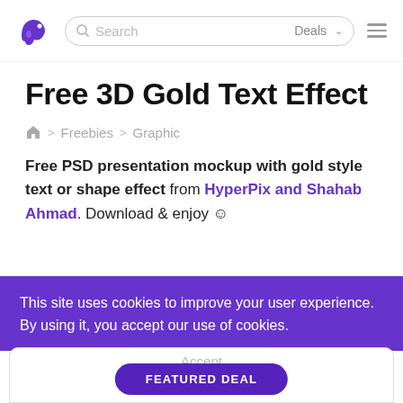Search | Deals | [hamburger menu]
Free 3D Gold Text Effect
🏠 > Freebies > Graphic
Free PSD presentation mockup with gold style text or shape effect from HyperPix and Shahab Ahmad. Download & enjoy ☺
This site uses cookies to improve your user experience. By using it, you accept our use of cookies.
Accept
FEATURED DEAL